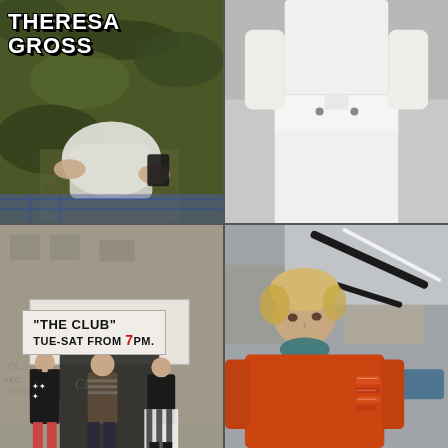[Figure (photo): Four-panel photo collage. Top-left: person in camouflage clothing holding a white plastic bag, with text overlay 'THERESA GROSS'. Top-right: close-up of person in white outfit with white wide belt on grey background. Bottom-left: street scene with people standing outside a venue with a sign reading '"THE CLUB" TUE-SAT FROM 7PM.'. Bottom-right: person in orange jacket with curly blonde hair on a city street.]